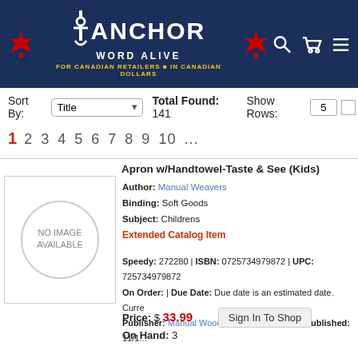Anchor Word Alive — FOR CANADIAN RETAILERS ■ IN CANADIAN DOLLARS
Sort By: Title   Total Found: 141   Show Rows: 5
1 2 3 4 5 6 7 8 9 10 ...
Apron w/Handtowel-Taste & See (Kids)
Author: Manual Weavers
Binding: Soft Goods
Subject: Childrens
Extended Catalog Item
Speedy: 272280 | ISBN: 0725734979872 | UPC: 725734979872
On Order: | Due Date: Due date is an estimated date. Curre
Publisher: Manual Woodworkers & Weavers | Published: 11/1...
Price: $ 33.99
On Hand: 3
Sign In To Shop